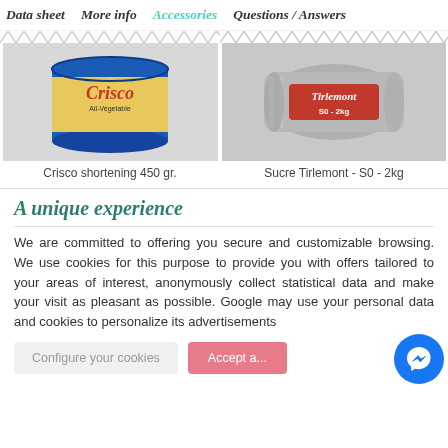Data sheet   More info   Accessories   Questions / Answers
[Figure (photo): Crisco All-Vegetable shortening in a blue tin can, 450g]
Crisco shortening 450 gr.
[Figure (photo): Sucre Tirlemont S0 2kg sugar bag in grey foil packaging with red logo]
Sucre Tirlemont - S0 - 2kg
A unique experience
We are committed to offering you secure and customizable browsing. We use cookies for this purpose to provide you with offers tailored to your areas of interest, anonymously collect statistical data and make your visit as pleasant as possible. Google may use your personal data and cookies to personalize its advertisements
Configure your cookies
Accept a...